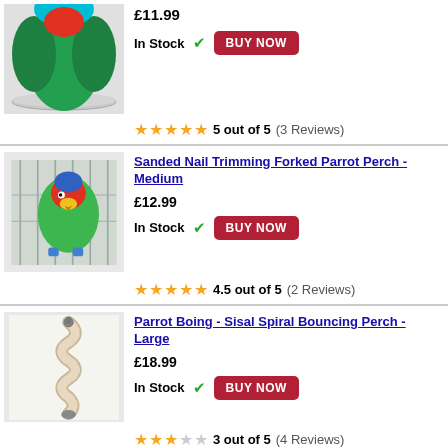£11.99
In Stock ✔ BUY NOW
★★★★★ 5 out of 5 (3 Reviews)
[Figure (photo): Green parrot with red face in a cage on a blue perch]
Sanded Nail Trimming Forked Parrot Perch - Medium
£12.99
In Stock ✔ BUY NOW
★★★★½ 4.5 out of 5 (2 Reviews)
[Figure (photo): Spiral rope sisal bouncing perch for parrots]
Parrot Boing - Sisal Spiral Bouncing Perch - Large
£18.99
In Stock ✔ BUY NOW
★★★ 3 out of 5 (4 Reviews)